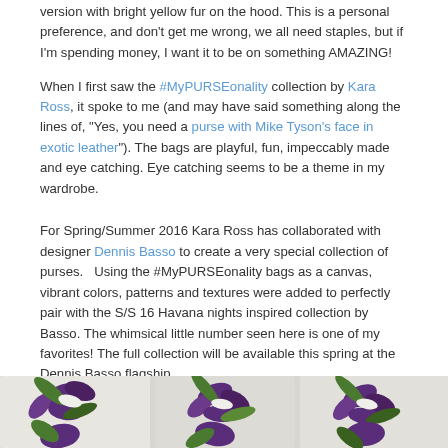version with bright yellow fur on the hood. This is a personal preference, and don't get me wrong, we all need staples, but if I'm spending money, I want it to be on something AMAZING!
When I first saw the #MyPURSEonality collection by Kara Ross, it spoke to me (and may have said something along the lines of, "Yes, you need a purse with Mike Tyson's face in exotic leather"). The bags are playful, fun, impeccably made and eye catching. Eye catching seems to be a theme in my wardrobe.
For Spring/Summer 2016 Kara Ross has collaborated with designer Dennis Basso to create a very special collection of purses.   Using the #MyPURSEonality bags as a canvas, vibrant colors, patterns and textures were added to perfectly pair with the S/S 16 Havana nights inspired collection by Basso. The whimsical little number seen here is one of my favorites! The full collection will be available this spring at the Dennis Basso flagship.
[Figure (photo): Bottom strip showing colorful floral fabric/purses with purple, green, and white flower patterns on a light background]